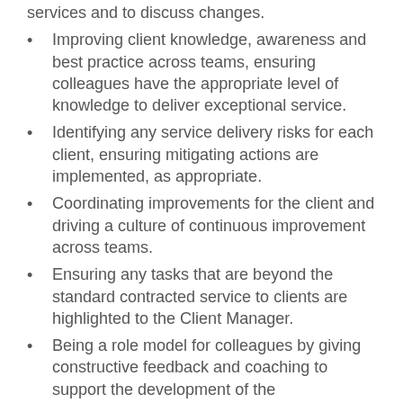services and to discuss changes.
Improving client knowledge, awareness and best practice across teams, ensuring colleagues have the appropriate level of knowledge to deliver exceptional service.
Identifying any service delivery risks for each client, ensuring mitigating actions are implemented, as appropriate.
Coordinating improvements for the client and driving a culture of continuous improvement across teams.
Ensuring any tasks that are beyond the standard contracted service to clients are highlighted to the Client Manager.
Being a role model for colleagues by giving constructive feedback and coaching to support the development of the…